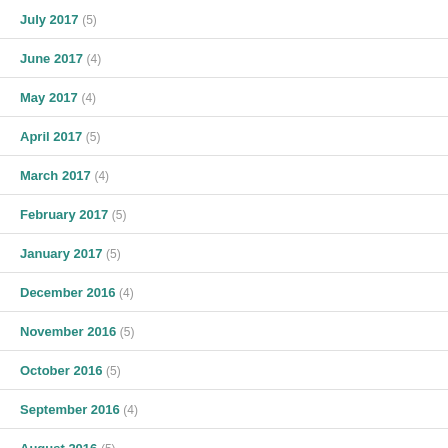July 2017 (5)
June 2017 (4)
May 2017 (4)
April 2017 (5)
March 2017 (4)
February 2017 (5)
January 2017 (5)
December 2016 (4)
November 2016 (5)
October 2016 (5)
September 2016 (4)
August 2016 (5)